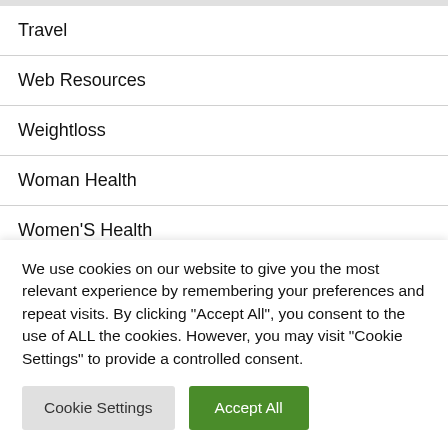Travel
Web Resources
Weightloss
Woman Health
Women'S Health
August 2022
We use cookies on our website to give you the most relevant experience by remembering your preferences and repeat visits. By clicking "Accept All", you consent to the use of ALL the cookies. However, you may visit "Cookie Settings" to provide a controlled consent.
Cookie Settings
Accept All